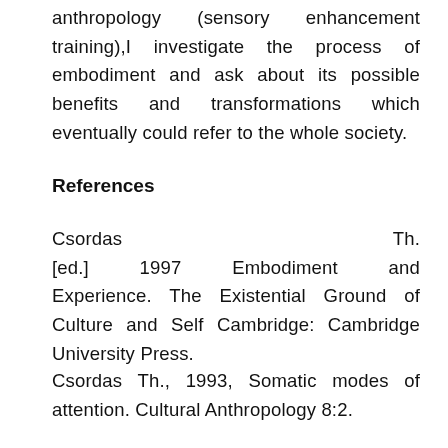anthropology (sensory enhancement training),I investigate the process of embodiment and ask about its possible benefits and transformations which eventually could refer to the whole society.
References
Csordas Th.[ed.] 1997 Embodiment and Experience. The Existential Ground of Culture and Self Cambridge: Cambridge University Press.
Csordas Th., 1993, Somatic modes of attention. Cultural Anthropology 8:2.